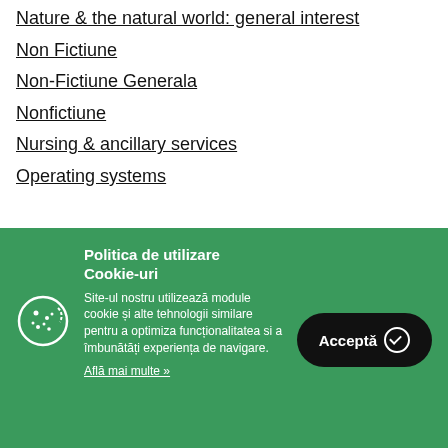Nature & the natural world: general interest
Non Fictiune
Non-Fictiune Generala
Nonfictiune
Nursing & ancillary services
Operating systems
Politica de utilizare Cookie-uri
Site-ul nostru utilizează module cookie și alte tehnologii similare pentru a optimiza funcționalitatea si a îmbunătăți experiența de navigare.
Află mai multe »